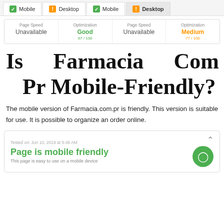[Figure (screenshot): Tab bar showing Mobile (green check) and Desktop (orange exclamation) tabs, with metrics boxes showing Page Speed: Unavailable, Optimization: Good 87/100 for mobile; Page Speed: Unavailable, Optimization: Medium 77/100 for desktop]
Is Farmacia Com Pr Mobile-Friendly?
The mobile version of Farmacia.com.pr is friendly. This version is suitable for use. It is possible to organize an order online.
[Figure (screenshot): Card showing: Tested on: Jun 10, 2019 at 5:49 AM. Page is mobile friendly. This page is easy to use on a mobile device. Green circle with phone icon on right.]